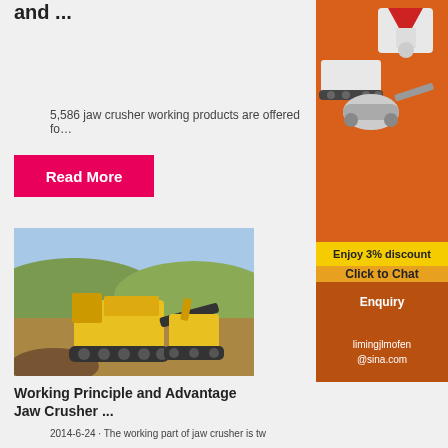and ...
5,586 jaw crusher working products are offered fo…
[Figure (other): Pink/red 'Read More' button]
[Figure (photo): Yellow jaw crusher machine operating outdoors on a quarry site with hills in background]
Working Principle and Advantage Jaw Crusher ...
2014-6-24 · The working part of jaw crusher is tw
[Figure (infographic): Orange advertisement sidebar showing mining/crushing machines with 'Enjoy 3% discount' and 'Click to Chat' text, Enquiry section, and limingjlmofen@sina.com email]